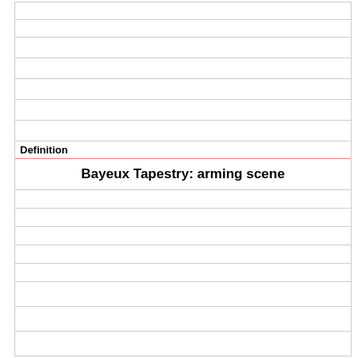Definition
Bayeux Tapestry: arming scene
Term
[image]